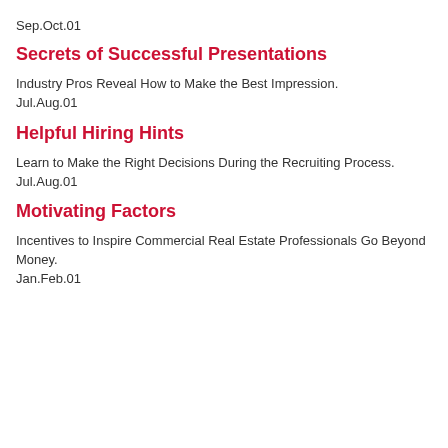Sep.Oct.01
Secrets of Successful Presentations
Industry Pros Reveal How to Make the Best Impression.
Jul.Aug.01
Helpful Hiring Hints
Learn to Make the Right Decisions During the Recruiting Process.
Jul.Aug.01
Motivating Factors
Incentives to Inspire Commercial Real Estate Professionals Go Beyond Money.
Jan.Feb.01